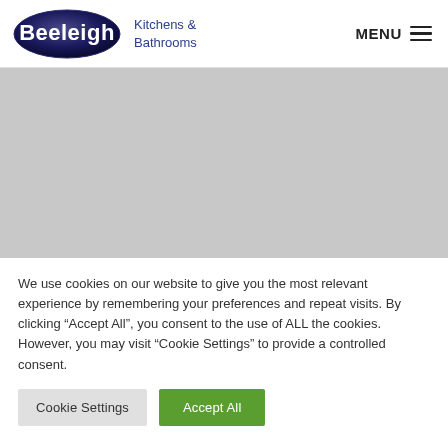[Figure (logo): Beeleigh Kitchens & Bathrooms logo: dark blue oval with white 'Beeleigh' text, followed by 'Kitchens & Bathrooms' in blue text]
[Figure (screenshot): Grey rectangular image placeholder area]
We use cookies on our website to give you the most relevant experience by remembering your preferences and repeat visits. By clicking “Accept All”, you consent to the use of ALL the cookies. However, you may visit "Cookie Settings" to provide a controlled consent.
Cookie Settings | Accept All